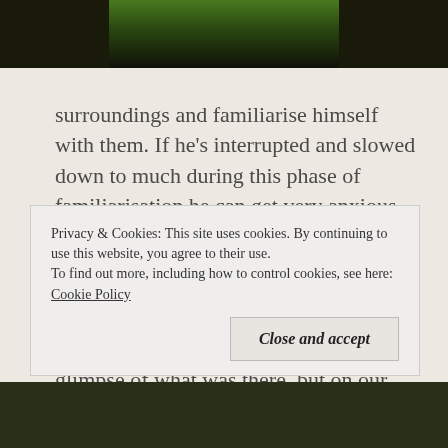[Figure (photo): Partial view of a dark nature/outdoor photograph at the top of the page]
surroundings and familiarise himself with them. If he's interrupted and slowed down to much during this phase of familiarisation he can get very anxious and frustrated.
So, on our very first visit to Drusillas, Penguin hurried through the first part at great speed and we barely caught a glimpse of what was there, but on our second visit, we could take it more slowly, and found some impressive reptiles (like the large iguana pictured here)
Privacy & Cookies: This site uses cookies. By continuing to use this website, you agree to their use.
To find out more, including how to control cookies, see here: Cookie Policy
[Figure (photo): Partial view of a dark outdoor photograph at the bottom of the page]